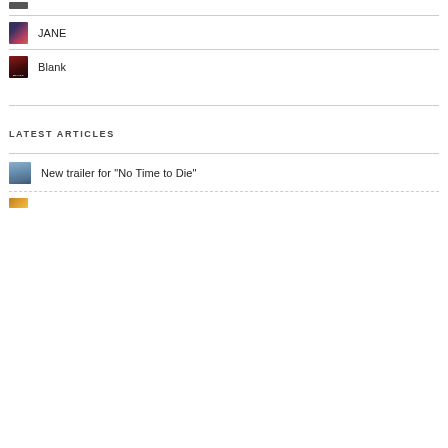[Figure (photo): Partial movie thumbnail at top of page]
JANE
Blank
LATEST ARTICLES
New trailer for "No Time to Die"
[Figure (photo): Partial thumbnail at bottom of page]